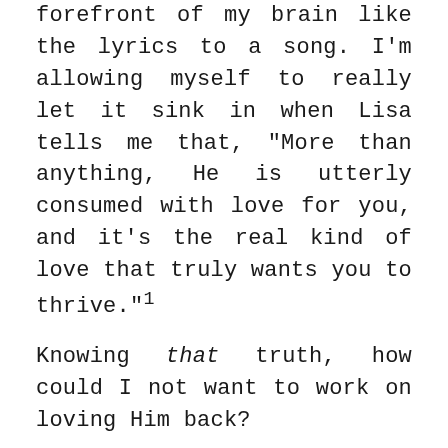forefront of my brain like the lyrics to a song. I'm allowing myself to really let it sink in when Lisa tells me that, "More than anything, He is utterly consumed with love for you, and it's the real kind of love that truly wants you to thrive."¹
Knowing that truth, how could I not want to work on loving Him back?
Do you have any WWP Bible studies on hand that you may have read in the past? If you were to pick one up again, I assure you, the truths would grab hold of you a second time, and